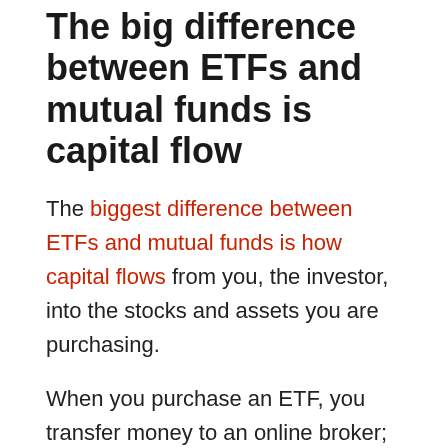The big difference between ETFs and mutual funds is capital flow
The biggest difference between ETFs and mutual funds is how capital flows from you, the investor, into the stocks and assets you are purchasing.
When you purchase an ETF, you transfer money to an online broker; then, you purchase the ETF through an exchange. If someone is selling the ETF, you are matched with them for the trade; if not, the capital is treated as an inflow to the fund, and the fund manager purchases extra assets.
When you purchase a mutual fund through a financial advisor, they will take care of the paperwork and manage